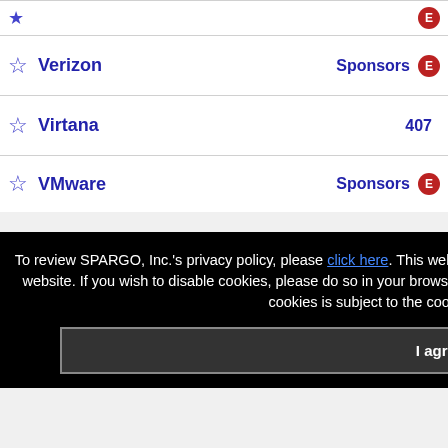|  | Name | Category |  |
| --- | --- | --- | --- |
| ★ |  |  | E |
| ☆ | Verizon | Sponsors | E |
| ☆ | Virtana | 407 |  |
| ☆ | VMware | Sponsors | E |
To review SPARGO, Inc.'s privacy policy, please click here. This website uses cookies to provide you with the best experience on our website. If you wish to disable cookies, please do so in your browser settings. Your continued use of our site without disabling your cookies is subject to the cookie policy. Learn More
I agree